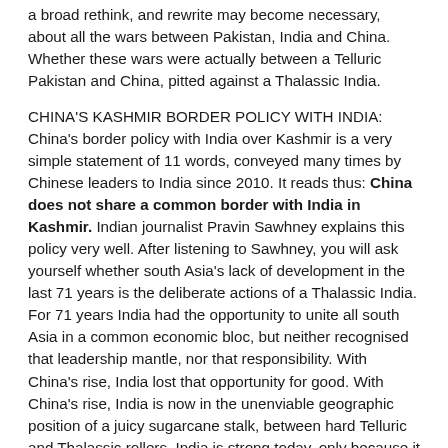a broad rethink, and rewrite may become necessary, about all the wars between Pakistan, India and China. Whether these wars were actually between a Telluric Pakistan and China, pitted against a Thalassic India.
CHINA'S KASHMIR BORDER POLICY WITH INDIA: China's border policy with India over Kashmir is a very simple statement of 11 words, conveyed many times by Chinese leaders to India since 2010. It reads thus: China does not share a common border with India in Kashmir. Indian journalist Pravin Sawhney explains this policy very well. After listening to Sawhney, you will ask yourself whether south Asia's lack of development in the last 71 years is the deliberate actions of a Thalassic India. For 71 years India had the opportunity to unite all south Asia in a common economic bloc, but neither recognised that leadership mantle, nor that responsibility. With China's rise, India lost that opportunity for good. With China's rise, India is now in the unenviable geographic position of a juicy sugarcane stalk, between hard Telluric and Thalassic rollers. India is strong today, only because it is connected economically, to the strong Thalassic states. As the economic strength of Thalassa wanes, so too does India's power. We must watch, the many ways India's